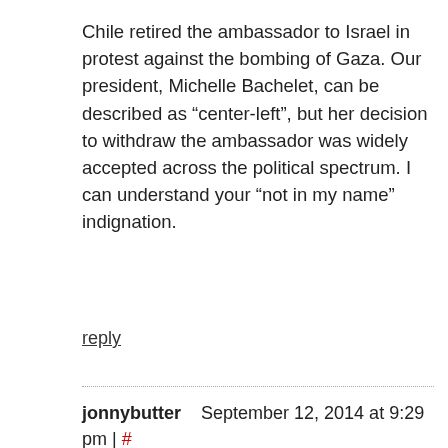Chile retired the ambassador to Israel in protest against the bombing of Gaza. Our president, Michelle Bachelet, can be described as “center-left”, but her decision to withdraw the ambassador was widely accepted across the political spectrum. I can understand your “not in my name” indignation.
reply
jonnybutter   September 12, 2014 at 9:29 pm | #
I had a whole long comment SW, but…eh, I got rid of it. Enough long long comments